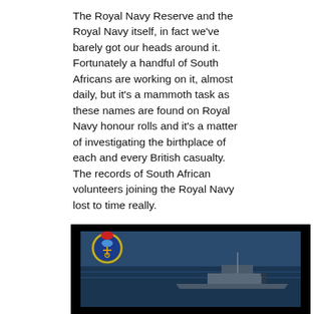The Royal Navy Reserve and the Royal Navy itself, in fact we've barely got our heads around it.  Fortunately a handful of South Africans are working on it, almost daily, but it's a mammoth task as these names are found on Royal Navy honour rolls and it's a matter of investigating the birthplace of each and every British casualty.  The records of South African volunteers joining the Royal Navy lost to time really.
In conclusion
The only other ship the South African Navy has lost since the HMSAS Treern at the end of the Second World War in a more modern epoch was the SAS President Kruger, and unlike the Treern, whose loss was in combat, the Kruger's loss was due to a tragic accident at sea (see "Out of the Storm came Courage" … the tragedy of the PK).
[Figure (photo): A photograph with dark/black background showing a naval vessel at sea with a South African Navy badge/emblem visible in the upper-left area.]